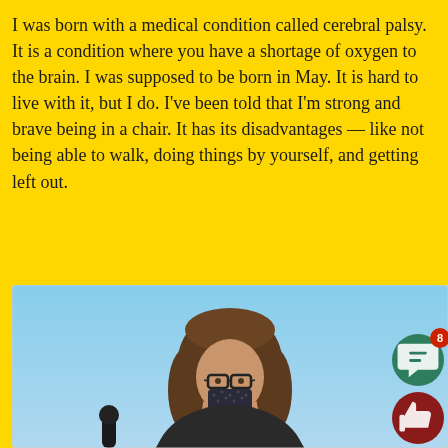I was born with a medical condition called cerebral palsy. It is a condition where you have a shortage of oxygen to the brain. I was supposed to be born in May. It is hard to live with it, but I do. I’ve been told that I’m strong and brave being in a chair. It has its disadvantages — like not being able to walk, doing things by yourself, and getting left out.
[Figure (photo): A person with long brown hair, glasses, and a decorative face mask, seated outdoors against a light blue sky background. A dark microphone or pole is visible at the bottom left.]